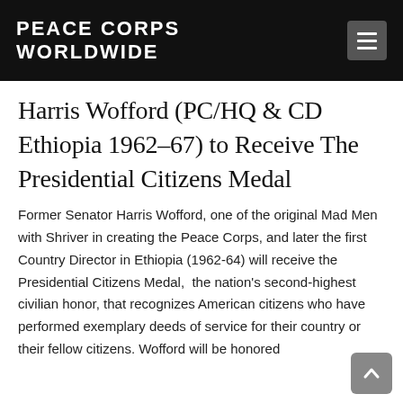PEACE CORPS WORLDWIDE
Harris Wofford (PC/HQ & CD Ethiopia 1962-67) to Receive The Presidential Citizens Medal
Former Senator Harris Wofford, one of the original Mad Men with Shriver in creating the Peace Corps, and later the first Country Director in Ethiopia (1962-64) will receive the Presidential Citizens Medal,  the nation's second-highest civilian honor, that recognizes American citizens who have performed exemplary deeds of service for their country or their fellow citizens. Wofford will be honored